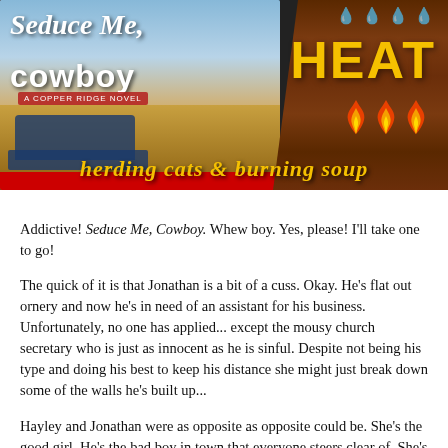[Figure (illustration): Book cover composite image for 'Seduce Me, Cowboy' (A Copper Ridge Novel) on the left side with a pickup truck and outdoor scene background, and on the right a dark wood-paneled background with the word 'HEAT' in large gold letters, three flame emoji, water droplet icons at the top, and the cursive text 'herding cats & burning soup' at the bottom in gold italic.]
Addictive! Seduce Me, Cowboy. Whew boy. Yes, please! I'll take one to go!
The quick of it is that Jonathan is a bit of a cuss. Okay. He's flat out ornery and now he's in need of an assistant for his business. Unfortunately, no one has applied... except the mousy church secretary who is just as innocent as he is sinful. Despite not being his type and doing his best to keep his distance she might just break down some of the walls he's built up...
Hayley and Jonathan were as opposite as opposite could be. She's the good girl. He's the bad boy in town that everyone steers clear of. She's innocent and he's wicked. He's dangerous and the